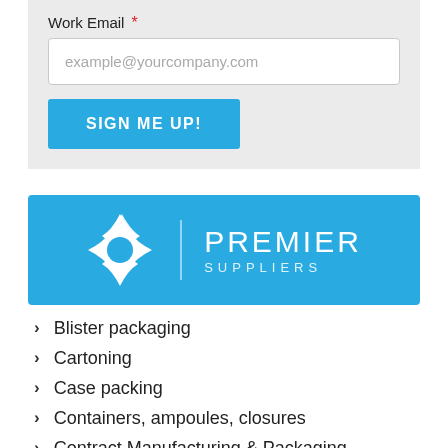Work Email *
example@yourcompany.com
SIGN ME UP!
[Figure (logo): Premier Suppliers logo: white star/compass icon with vertical divider and text PREMIER SUPPLIERS on cyan/blue background]
Blister packaging
Cartoning
Case packing
Containers, ampoules, closures
Contract Manufacturing & Packaging